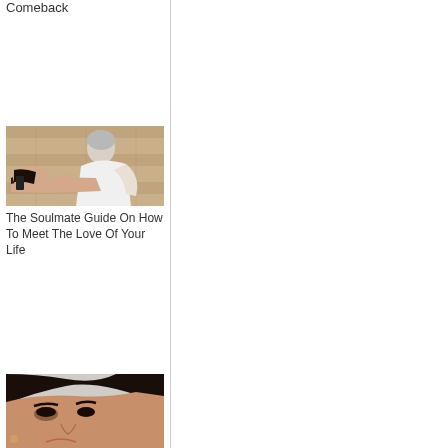Comeback
[Figure (photo): A couple, an older silver-haired man in a white shirt leaning over a younger woman lying down, appearing to kiss or embrace, brick wall background]
The Soulmate Guide On How To Meet The Love Of Your Life
[Figure (photo): Close-up portrait of a dark-haired woman with heavy eye makeup looking upward, cropped at top of frame]